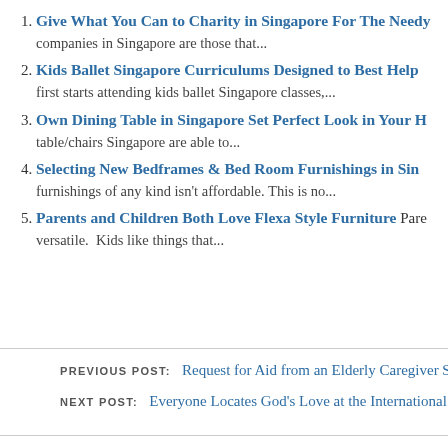Give What You Can to Charity in Singapore For The Needy - companies in Singapore are those that...
Kids Ballet Singapore Curriculums Designed to Best Help - first starts attending kids ballet Singapore classes,...
Own Dining Table in Singapore Set Perfect Look in Your H - table/chairs Singapore are able to...
Selecting New Bedframes & Bed Room Furnishings in Sin - furnishings of any kind isn't affordable. This is no...
Parents and Children Both Love Flexa Style Furniture - Parents... versatile. Kids like things that...
PREVIOUS POST: Request for Aid from an Elderly Caregiver Supp
NEXT POST: Everyone Locates God's Love at the International Yo